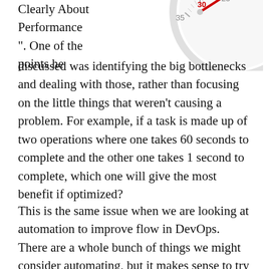Clearly About Performance". One of the points he discussed was identifying the big bottlenecks and dealing with those, rather than focusing on the little things that weren't causing a problem. For example, if a task is made up of two operations where one takes 60 seconds to complete and the other one takes 1 second to complete, which one will give the most benefit if optimized?
[Figure (photo): Partial view of a stopwatch or speedometer dial showing numbers 35, 30, 25 with a red needle pointing near 25-30, rendered in light gray with red accent.]
This is the same issue when we are looking at automation to improve flow in DevOps. There are a whole bunch of things we might consider automating, but it makes sense to try and fix